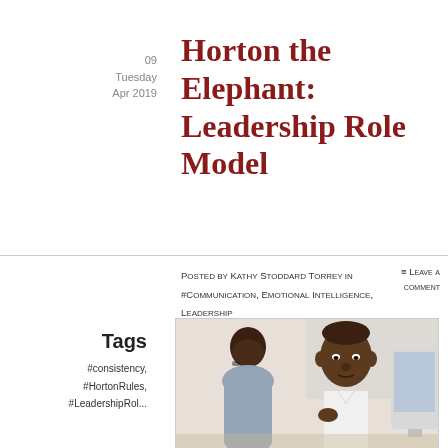09 Tuesday Apr 2019
Horton the Elephant: Leadership Role Model
Posted by Kathy Stoddard Torrey in #Communication, Emotional Intelligence, Leadership  ≡ Leave a comment
Tags
#consistency,
#HortonRules,
#LeadershipRole...
[Figure (photo): Two people in a workplace conversation; a Black man in a white shirt faces a woman with her back to the camera, both seated near a computer monitor.]